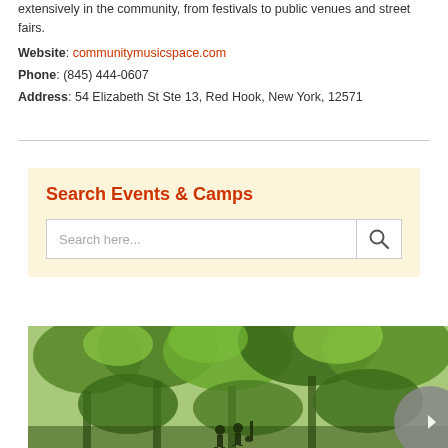extensively in the community, from festivals to public venues and street fairs.
Website: communitymusicspace.com
Phone: (845) 444-0607
Address: 54 Elizabeth St Ste 13, Red Hook, New York, 12571
Search Events & Camps
[Figure (screenshot): Search input box with placeholder text 'Search here...' and a magnifying glass search button on the right]
[Figure (photo): Outdoor photo showing trees with green foliage, people silhouettes at bottom, and a circular navigation arrow button on the right side]